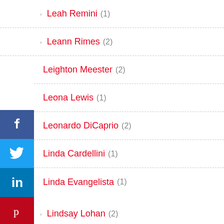Leah Remini (1)
Leann Rimes (2)
Leighton Meester (2)
Leona Lewis (1)
Leonardo DiCaprio (2)
Linda Cardellini (1)
Linda Evangelista (1)
Lindsay Lohan (2)
Lisa Edelstein (1)